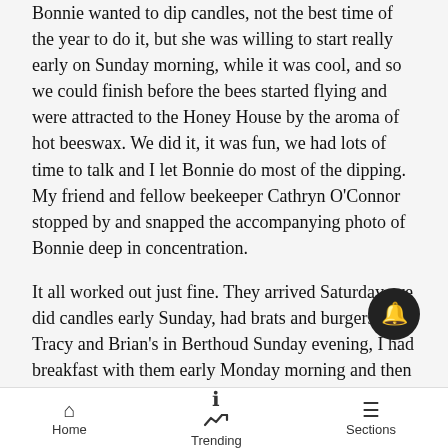Bonnie wanted to dip candles, not the best time of the year to do it, but she was willing to start really early on Sunday morning, while it was cool, and so we could finish before the bees started flying and were attracted to the Honey House by the aroma of hot beeswax. We did it, it was fun, we had lots of time to talk and I let Bonnie do most of the dipping. My friend and fellow beekeeper Cathryn O'Connor stopped by and snapped the accompanying photo of Bonnie deep in concentration.

It all worked out just fine. They arrived Saturday, we did candles early Sunday, had brats and burgers at Tracy and Brian's in Berthoud Sunday evening, I had breakfast with them early Monday morning and then they were off to other parts of Colorado and other friends. And now here I am again — it's column day
Home  Trending  Sections